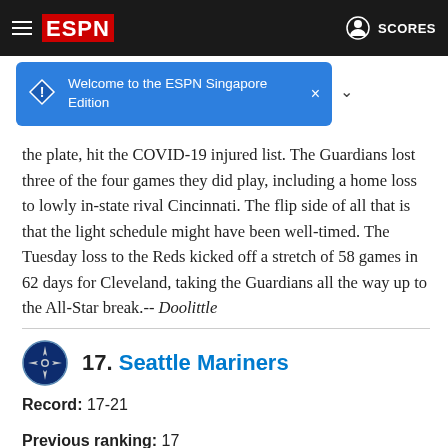ESPN — SCORES
[Figure (screenshot): ESPN Singapore Edition welcome notification banner]
the plate, hit the COVID-19 injured list. The Guardians lost three of the four games they did play, including a home loss to lowly in-state rival Cincinnati. The flip side of all that is that the light schedule might have been well-timed. The Tuesday loss to the Reds kicked off a stretch of 58 games in 62 days for Cleveland, taking the Guardians all the way up to the All-Star break.-- Doolittle
17. Seattle Mariners
Record: 17-21
Previous ranking: 17